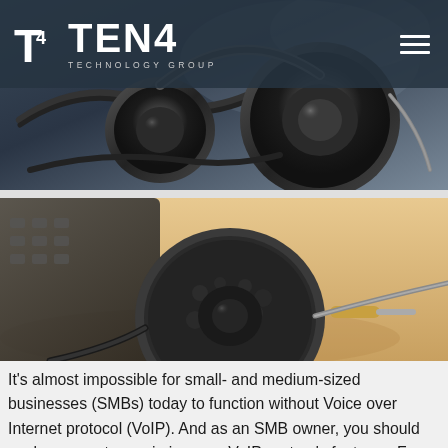T4 TEN4 TECHNOLOGY GROUP
[Figure (photo): Close-up photo of a professional headset with cables on a dark background]
[Figure (photo): Close-up photo of a professional headset with foam earpiece resting on a wooden desk next to a phone]
It's almost impossible for small- and medium-sized businesses (SMBs) today to function without Voice over Internet protocol (VoIP). And as an SMB owner, you should explore ways to maximize your VoIP system's features. For starters, you can use its call recording function to enhance your customer service